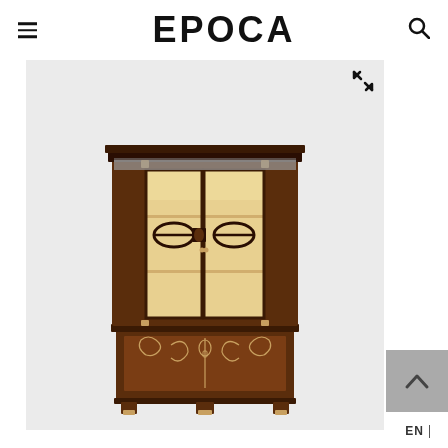EPOCA
[Figure (photo): A tall antique display cabinet with dark mahogany wood, two glass-front doors with decorative oval fretwork, mirrored side panels, brass hardware, and ornate marquetry inlay on the lower base section. The cabinet has two sections: an upper glazed cabinet with illuminated interior shelves, and a lower base with decorative inlay panels and brass claw feet.]
EN